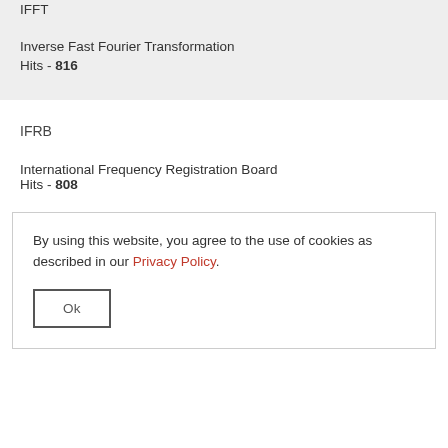IFFT
Inverse Fast Fourier Transformation
Hits - 816
IFRB
International Frequency Registration Board
Hits - 808
By using this website, you agree to the use of cookies as described in our Privacy Policy.
Ok